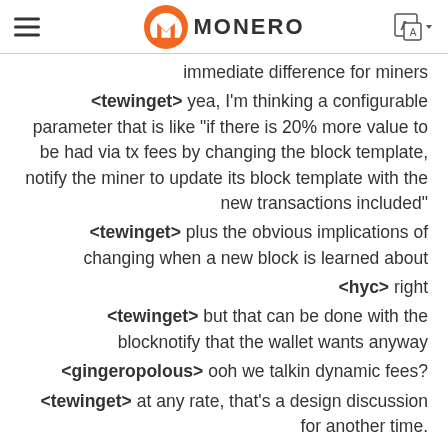MONERO
immediate difference for miners
<tewinget> yea, I'm thinking a configurable parameter that is like "if there is 20% more value to be had via tx fees by changing the block template, notify the miner to update its block template with the new transactions included"
<tewinget> plus the obvious implications of changing when a new block is learned about
<hyc> right
<tewinget> but that can be done with the blocknotify that the wallet wants anyway
<gingeropolous> ooh we talkin dynamic fees?
<tewinget> at any rate, that's a design discussion for another time.
<fluff ...